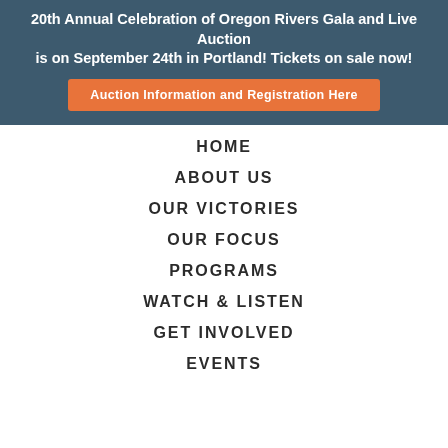20th Annual Celebration of Oregon Rivers Gala and Live Auction is on September 24th in Portland! Tickets on sale now!
Auction Information and Registration Here
HOME
ABOUT US
OUR VICTORIES
OUR FOCUS
PROGRAMS
WATCH & LISTEN
GET INVOLVED
EVENTS